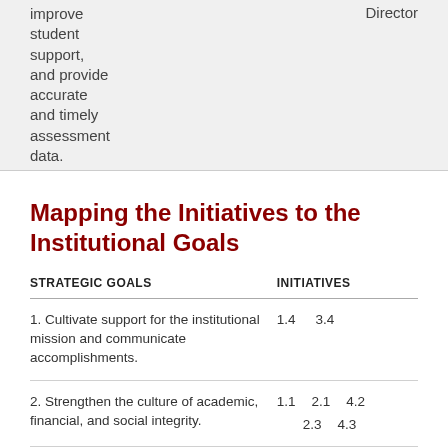improve student support, and provide accurate and timely assessment data.
Director
Mapping the Initiatives to the Institutional Goals
| STRATEGIC GOALS | INITIATIVES |
| --- | --- |
| 1. Cultivate support for the institutional mission and communicate accomplishments. | 1.4  3.4 |
| 2. Strengthen the culture of academic, financial, and social integrity. | 1.1  2.1  4.2
     2.3  4.3 |